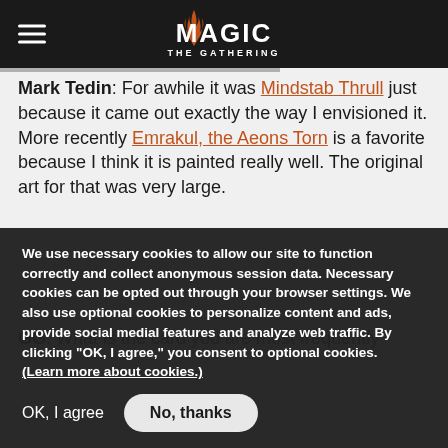Magic: The Gathering header with hamburger menu and logo
Mark Tedin: For awhile it was Mindstab Thrull just because it came out exactly the way I envisioned it. More recently Emrakul, the Aeons Torn is a favorite because I think it is painted really well. The original art for that was very large.
GG: What is the card you are most frequently
We use necessary cookies to allow our site to function correctly and collect anonymous session data. Necessary cookies can be opted out through your browser settings. We also use optional cookies to personalize content and ads, provide social medial features and analyze web traffic. By clicking "OK, I agree," you consent to optional cookies. (Learn more about cookies.)